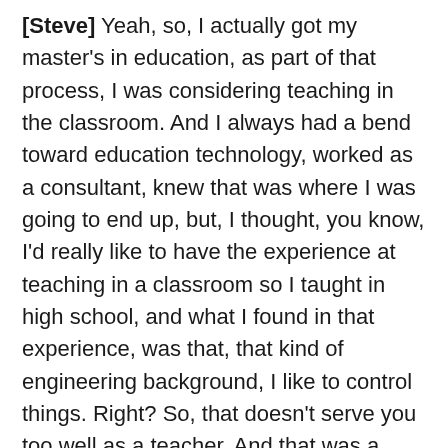[Steve] Yeah, so, I actually got my master's in education, as part of that process, I was considering teaching in the classroom. And I always had a bend toward education technology, worked as a consultant, knew that was where I was going to end up, but, I thought, you know, I'd really like to have the experience at teaching in a classroom so I taught in high school, and what I found in that experience, was that, that kind of engineering background, I like to control things. Right? So, that doesn't serve you too well as a teacher. And that was a realization that was hard to come across, but it was a phenomenal opportunity for me, so I recognized that, in my learning, I like to have a command of things